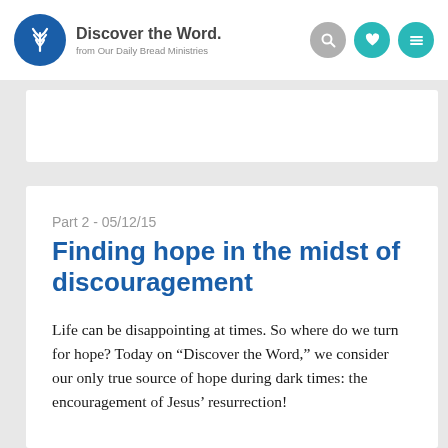Discover the Word. from Our Daily Bread Ministries
Part 2 - 05/12/15
Finding hope in the midst of discouragement
Life can be disappointing at times. So where do we turn for hope? Today on “Discover the Word,” we consider our only true source of hope during dark times: the encouragement of Jesus’ resurrection!